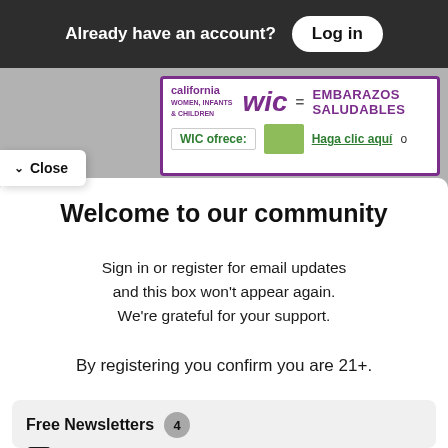Already have an account? Log in
[Figure (screenshot): California WIC banner showing 'WIC = EMBARAZOS SALUDABLES', 'WIC ofrece:' and 'Haga clic aquí o' text]
Close
Welcome to our community
Sign in or register for email updates and this box won't appear again. We're grateful for your support.
By registering you confirm you are 21+.
Free Newsletters 4
Good Times Newsletter (weekly)
News stories, arts and dining